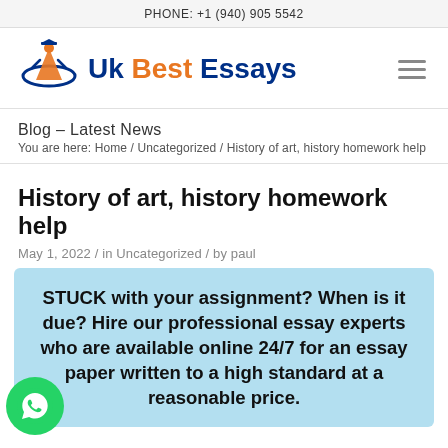PHONE: +1 (940) 905 5542
[Figure (logo): Uk Best Essays logo with graduation cap figure and orbital ring]
Blog – Latest News
You are here: Home / Uncategorized / History of art, history homework help
History of art, history homework help
May 1, 2022 / in Uncategorized / by paul
STUCK with your assignment? When is it due? Hire our professional essay experts who are available online 24/7 for an essay paper written to a high standard at a reasonable price.